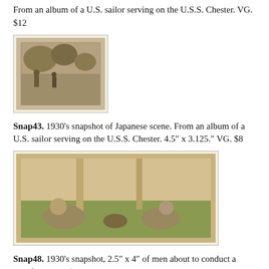From an album of a U.S. sailor serving on the U.S.S. Chester. VG. $12
[Figure (photo): 1930s snapshot of Japanese scene, small sepia photograph with white border]
Snap43. 1930’s snapshot of Japanese scene. From an album of a U.S. sailor serving on the U.S.S. Chester. 4.5″ x 3.125.” VG. $8
[Figure (photo): 1930s snapshot of men about to conduct a cockfight, larger sepia photograph with white border]
Snap48. 1930’s snapshot, 2.5″ x 4″ of men about to conduct a cockfight. VG. $5
[Figure (photo): Partial view of another sepia photograph at bottom of page]